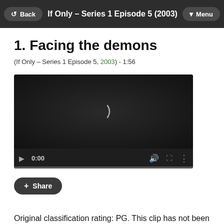Back | If Only – Series 1 Episode 5 (2003) | Menu
1. Facing the demons
(If Only – Series 1 Episode 5, 2003) - 1:56
[Figure (screenshot): Video player showing 0:00 timestamp with play button, volume, fullscreen and more options controls, and a progress bar at the bottom. A loading arc is visible in the center of the dark video area.]
+ Share
Original classification rating: PG. This clip has not been